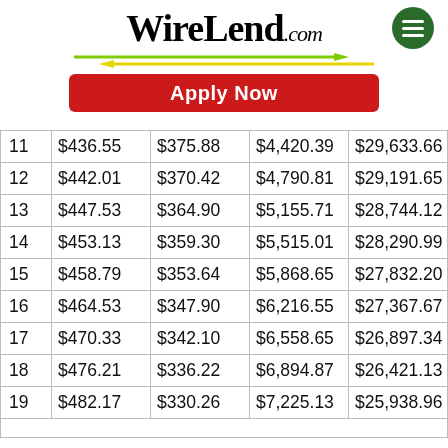[Figure (logo): WireLend.com logo with green menu button and arrow graphics]
[Figure (other): Apply Now red button]
| 11 | $436.55 | $375.88 | $4,420.39 | $29,633.66 |
| 12 | $442.01 | $370.42 | $4,790.81 | $29,191.65 |
| 13 | $447.53 | $364.90 | $5,155.71 | $28,744.12 |
| 14 | $453.13 | $359.30 | $5,515.01 | $28,290.99 |
| 15 | $458.79 | $353.64 | $5,868.65 | $27,832.20 |
| 16 | $464.53 | $347.90 | $6,216.55 | $27,367.67 |
| 17 | $470.33 | $342.10 | $6,558.65 | $26,897.34 |
| 18 | $476.21 | $336.22 | $6,894.87 | $26,421.13 |
| 19 | $482.17 | $330.26 | $7,225.13 | $25,938.96 |